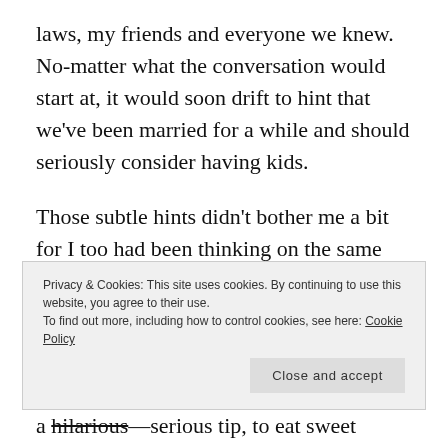laws, my friends and everyone we knew. No-matter what the conversation would start at, it would soon drift to hint that we've been married for a while and should seriously consider having kids.
Those subtle hints didn't bother me a bit for I too had been thinking on the same lines. Things started getting bit uneasy when we were given frequent tips from my in-laws on
Privacy & Cookies: This site uses cookies. By continuing to use this website, you agree to their use.
To find out more, including how to control cookies, see here: Cookie Policy
a hilarious—serious tip, to eat sweet before